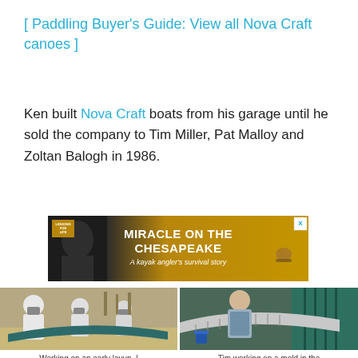[ Paddling Buyer's Guide: View all Nova Craft canoes ]
Ken built Nova Craft boats from his garage until he sold the company to Tim Miller, Pat Malloy and Zoltan Balogh in 1986.
[Figure (photo): Advertisement banner for 'Miracle on the Chesapeake: A kayak angler's survival story' with a man's face and kayaker image on golden/dark background]
[Figure (photo): Workers in protective gear working on an early canoe layup in a workshop]
Working on an early layup. | Photo: Courtesy Nova Craft
[Figure (photo): Tim working on a mold in the first London shop, showing canoe ribbing structure]
Tim working on a mold in the first London shop, circa 1988.